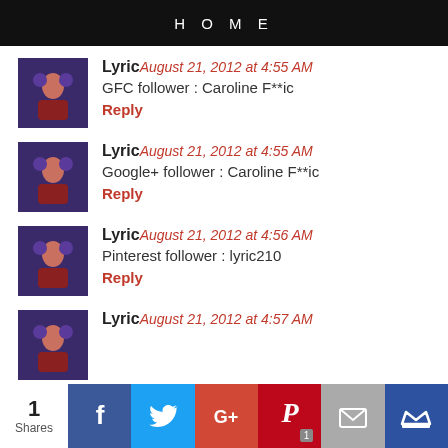HOME
Lyric — August 21, 2012 at 4:55 AM
GFC follower : Caroline F**ic
Reply
Lyric — August 21, 2012 at 4:55 AM
Google+ follower : Caroline F**ic
Reply
Lyric — August 21, 2012 at 4:56 AM
Pinterest follower : lyric210
Reply
Lyric — August 21, 2012 at 4:57 AM
[Figure (infographic): Social share bar with 1 Share count, Facebook, Twitter, Google+, Pinterest (with 1), Email, and crown icon buttons]